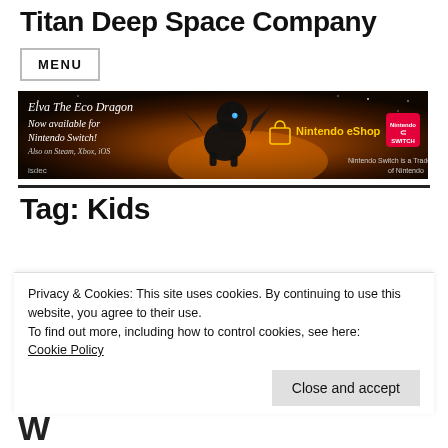Titan Deep Space Company
MENU
[Figure (illustration): Banner advertisement for 'Elva The Eco Dragon' game, now available for Nintendo Switch. Dark orange/black gradient background with a dragon creature silhouette, Nintendo eShop logo with shopping bag icon, text reading 'Also on Steam, Xbox, iOS'. Nintendo Switch logo in red. Bottom left: 'isdec'. Bottom right: 'Nintendo Switch is a Trademark of Nintendo'.]
Tag: Kids
Privacy & Cookies: This site uses cookies. By continuing to use this website, you agree to their use.
To find out more, including how to control cookies, see here:
Cookie Policy
Close and accept